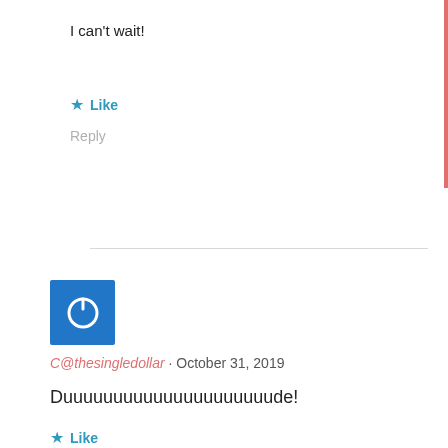I can't wait!
★ Like
Reply
[Figure (other): Blue square avatar with white power button icon]
C@thesingledollar · October 31, 2019
Duuuuuuuuuuuuuuuuuuuuude!
★ Like